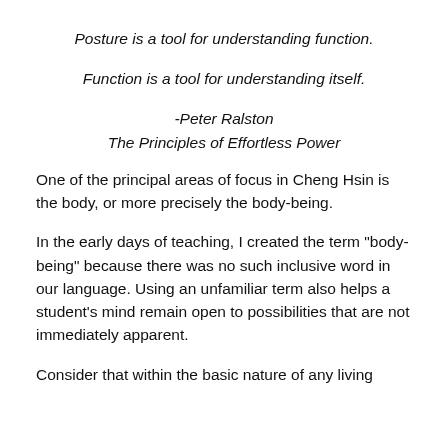Posture is a tool for understanding function.
Function is a tool for understanding itself.
-Peter Ralston
The Principles of Effortless Power
One of the principal areas of focus in Cheng Hsin is the body, or more precisely the body-being.
In the early days of teaching, I created the term "body-being" because there was no such inclusive word in our language. Using an unfamiliar term also helps a student's mind remain open to possibilities that are not immediately apparent.
Consider that within the basic nature of any living